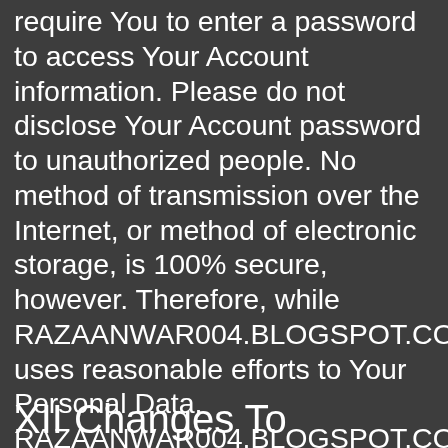require You to enter a password to access Your Account information. Please do not disclose Your Account password to unauthorized people. No method of transmission over the Internet, or method of electronic storage, is 100% secure, however. Therefore, while RAZAANWAR004.BLOGSPOT.COM uses reasonable efforts to Your Personal Data, RAZAANWAR004.BLOGSPOT.COM cannot guarantee its absolute security.
XII Changes To